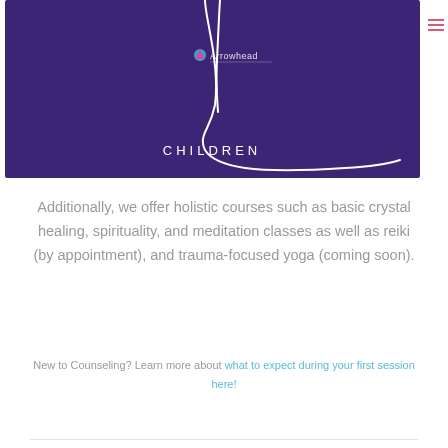[Figure (illustration): Purple banner with white line drawing of a child/yoga figure and 'Arrowhead' logo text with colorful icon. Text 'CHILDREN' centered at bottom of the banner.]
Additionally, we offer holistic courses such as basic crystal healing, spirituality, and meditation classes as well as reiki (by appointment), and trauma-focused yoga (coming soon).
New to Counseling? Learn more about what to expect during your first session here!